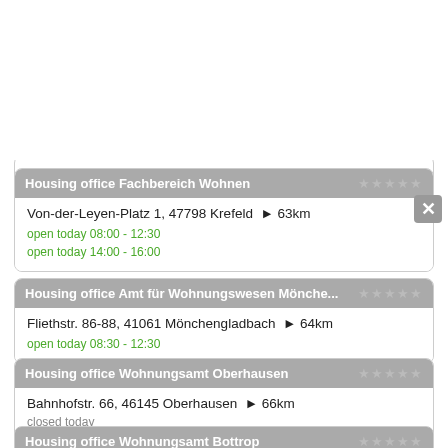Housing office Fachbereich Wohnen — Von-der-Leyen-Platz 1, 47798 Krefeld ▶ 63km — open today 08:00 - 12:30 — open today 14:00 - 16:00
Housing office Amt für Wohnungswesen Mönche... — Fliethstr. 86-88, 41061 Mönchengladbach ▶ 64km — open today 08:30 - 12:30
Housing office Wohnungsamt Oberhausen — Bahnhofstr. 66, 46145 Oberhausen ▶ 66km — closed today
Housing office Wohnungsamt Bottrop — Moltkestr. 14-16, 46236 Bottrop ▶ 66km — open today 08:30 - 12:30
Housing office Wohnungsamt Bochum...